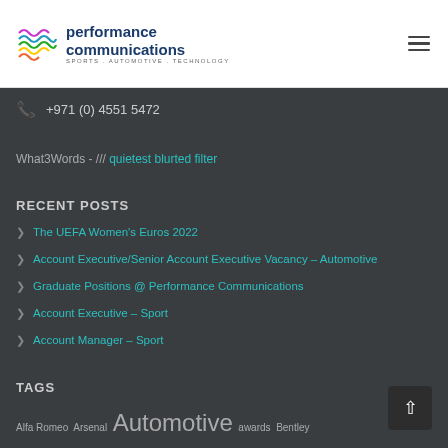performance communications — SPORTS . AUTOMOTIVE . TECHNOLOGY
+971 (0) 4551 5472
What3Words - /// quietest blurted filter
RECENT POSTS
The UEFA Women's Euros 2022
Account Executive/Senior Account Executive Vacancy – Automotive
Graduate Positions @ Performance Communications
Account Executive – Sport
Account Manager – Sport
TAGS
Alfa Romeo  Arsenal  Automotive  awards  Bentley